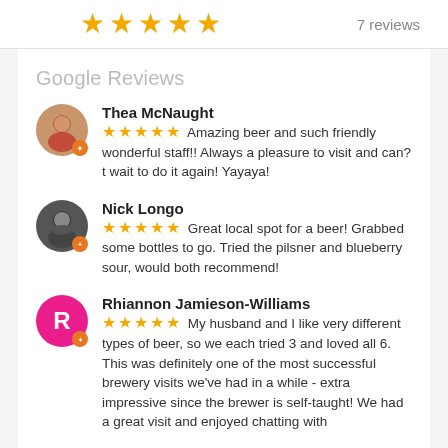[Figure (other): Five gold stars rating display]
7 reviews
Google Reviews
Thea McNaught
★★★★★ Amazing beer and such friendly wonderful staff!! Always a pleasure to visit and can?t wait to do it again! Yayaya!
Nick Longo
★★★★★ Great local spot for a beer! Grabbed some bottles to go. Tried the pilsner and blueberry sour, would both recommend!
Rhiannon Jamieson-Williams
★★★★★ My husband and I like very different types of beer, so we each tried 3 and loved all 6. This was definitely one of the most successful brewery visits we've had in a while - extra impressive since the brewer is self-taught! We had a great visit and enjoyed chatting with